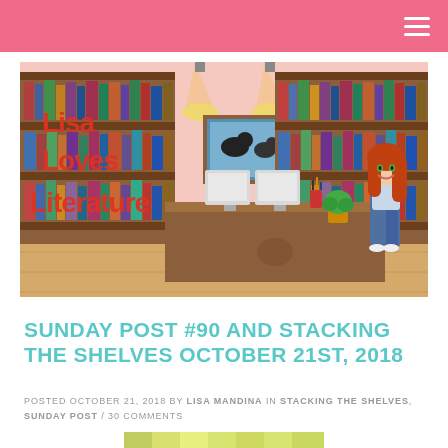[Figure (illustration): Lisa Loves Literature blog banner illustration: cartoon library scene with bookshelves, a librarian desk, pendant lights, a painting of dogs on the wall, a plant, and an animated red-haired woman standing to the right. Text reads 'Lisa Loves Literature' in red bubble letters.]
SUNDAY POST #90 AND STACKING THE SHELVES OCTOBER 21ST, 2018
POSTED OCTOBER 21, 2018 BY LISA MANDINA IN STACKING THE SHELVES, SUNDAY POST / 30 COMMENTS
[Figure (illustration): Partial view of a green and yellow striped decorative image at the bottom of the page.]